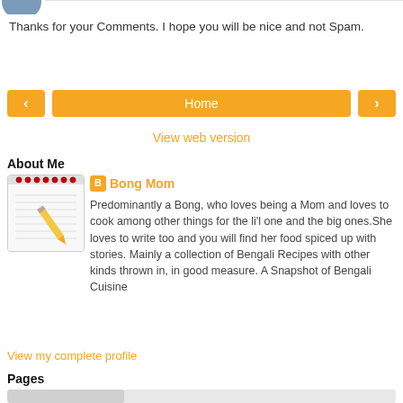[Figure (illustration): Partial avatar image at top left, blue-grey circular avatar cropped at top edge]
Thanks for your Comments. I hope you will be nice and not Spam.
[Figure (infographic): Navigation row with orange left arrow button, orange Home button, and orange right arrow button]
View web version
About Me
[Figure (illustration): Notebook illustration with pencil on a white notepad with grey lines]
Bong Mom
Predominantly a Bong, who loves being a Mom and loves to cook among other things for the li'l one and the big ones.She loves to write too and you will find her food spiced up with stories. Mainly a collection of Bengali Recipes with other kinds thrown in, in good measure. A Snapshot of Bengali Cuisine
View my complete profile
Pages